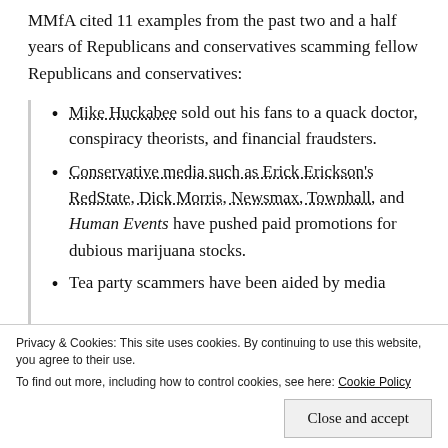MMfA cited 11 examples from the past two and a half years of Republicans and conservatives scamming fellow Republicans and conservatives:
Mike Huckabee sold out his fans to a quack doctor, conspiracy theorists, and financial fraudsters.
Conservative media such as Erick Erickson's RedState, Dick Morris, Newsmax, Townhall, and Human Events have pushed paid promotions for dubious marijuana stocks.
Tea party scammers have been aided by media efforts.
Privacy & Cookies: This site uses cookies. By continuing to use this website, you agree to their use. To find out more, including how to control cookies, see here: Cookie Policy
Close and accept